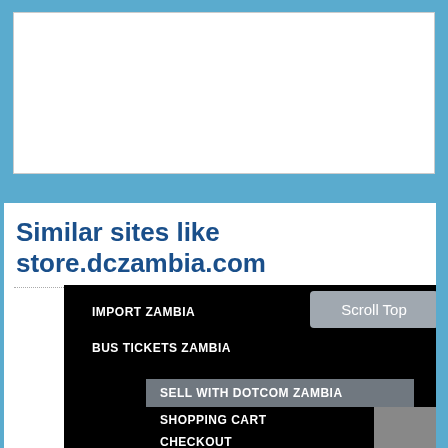[Figure (screenshot): White rectangle placeholder area at the top, framed by blue background]
Similar sites like store.dczambia.com
[Figure (screenshot): Screenshot of store.dczambia.com showing dark navigation menu with items: IMPORT ZAMBIA, BUS TICKETS ZAMBIA, SELL WITH DOTCOM ZAMBIA, SHOPPING CART, CHECKOUT, and a Scroll Top button]